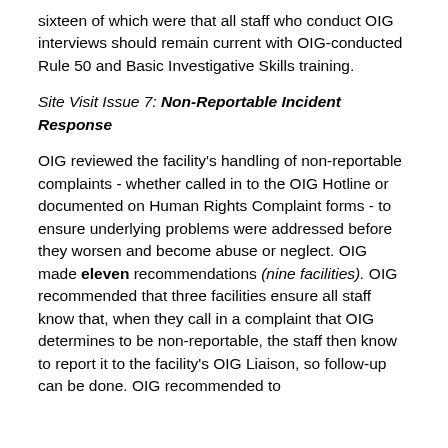sixteen of which were that all staff who conduct OIG interviews should remain current with OIG-conducted Rule 50 and Basic Investigative Skills training.
Site Visit Issue 7: Non-Reportable Incident Response
OIG reviewed the facility's handling of non-reportable complaints - whether called in to the OIG Hotline or documented on Human Rights Complaint forms - to ensure underlying problems were addressed before they worsen and become abuse or neglect. OIG made eleven recommendations (nine facilities). OIG recommended that three facilities ensure all staff know that, when they call in a complaint that OIG determines to be non-reportable, the staff then know to report it to the facility's OIG Liaison, so follow-up can be done. OIG recommended to